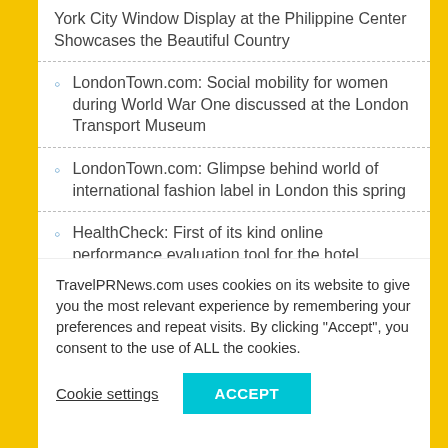York City Window Display at the Philippine Center Showcases the Beautiful Country
LondonTown.com: Social mobility for women during World War One discussed at the London Transport Museum
LondonTown.com: Glimpse behind world of international fashion label in London this spring
HealthCheck: First of its kind online performance evaluation tool for the hotel industry is now available worldwide
LondonTown.com highlights the best events
TravelPRNews.com uses cookies on its website to give you the most relevant experience by remembering your preferences and repeat visits. By clicking “Accept”, you consent to the use of ALL the cookies.
Cookie settings
ACCEPT